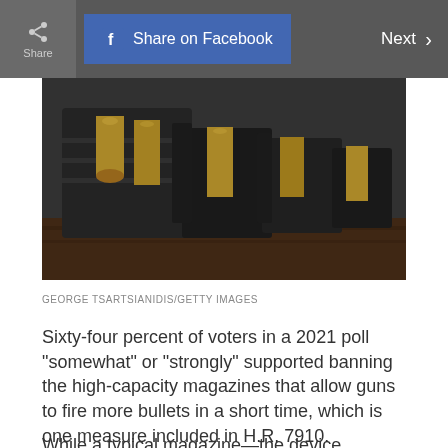Share  Share on Facebook  Next >
[Figure (photo): Close-up photo of bullets/ammunition in a high-capacity magazine and firearm, dark metallic tones on a wooden surface. Photo credit: George Tsartsianidis/Getty Images]
GEORGE TSARTSIANIDIS/GETTY IMAGES
Sixty-four percent of voters in a 2021 poll “somewhat” or “strongly” supported banning the high-capacity magazines that allow guns to fire more bullets in a short time, which is one measure included in H.R. 7910.
While a typical magazine—the device